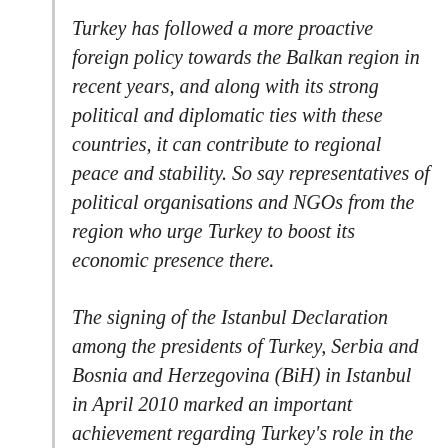Turkey has followed a more proactive foreign policy towards the Balkan region in recent years, and along with its strong political and diplomatic ties with these countries, it can contribute to regional peace and stability. So say representatives of political organisations and NGOs from the region who urge Turkey to boost its economic presence there.
The signing of the Istanbul Declaration among the presidents of Turkey, Serbia and Bosnia and Herzegovina (BiH) in Istanbul in April 2010 marked an important achievement regarding Turkey's role in the